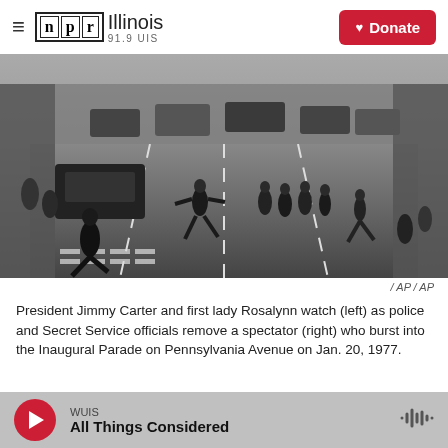NPR Illinois 91.9 UIS
[Figure (photo): Black and white historical photograph of President Jimmy Carter's Inaugural Parade on Pennsylvania Avenue, Jan. 20, 1977. Shows police and Secret Service officials removing a spectator who burst into the parade route, with crowd lining the sides and vehicles in the background.]
/ AP / AP
President Jimmy Carter and first lady Rosalynn watch (left) as police and Secret Service officials remove a spectator (right) who burst into the Inaugural Parade on Pennsylvania Avenue on Jan. 20, 1977.
WUIS All Things Considered